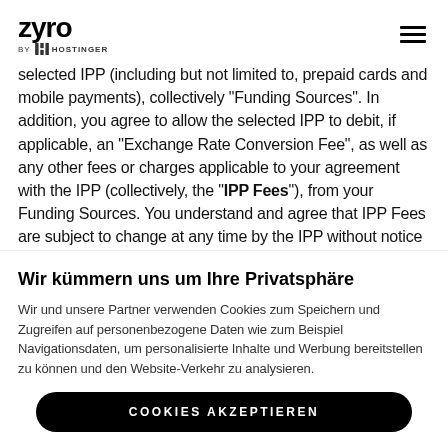zyro by HOSTINGER
selected IPP (including but not limited to, prepaid cards and mobile payments), collectively "Funding Sources". In addition, you agree to allow the selected IPP to debit, if applicable, an "Exchange Rate Conversion Fee", as well as any other fees or charges applicable to your agreement with the IPP (collectively, the "IPP Fees"), from your Funding Sources. You understand and agree that IPP Fees are subject to change at any time by the IPP without notice to you by Zyro .
Wir kümmern uns um Ihre Privatsphäre
Wir und unsere Partner verwenden Cookies zum Speichern und Zugreifen auf personenbezogene Daten wie zum Beispiel Navigationsdaten, um personalisierte Inhalte und Werbung bereitstellen zu können und den Website-Verkehr zu analysieren.
COOKIES AKZEPTIEREN